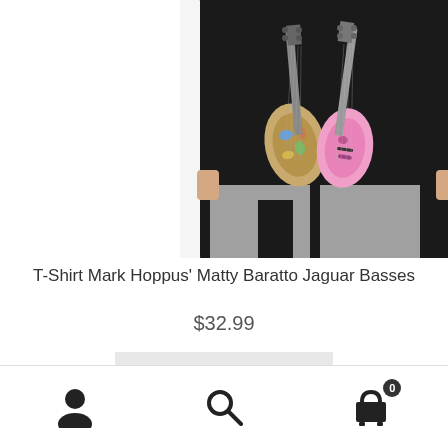[Figure (photo): A person wearing a black t-shirt featuring two Jaguar bass guitars (one with floral pattern, one pink) hanging on it, paired with grey pants, shown from neck to knees on a white background.]
T-Shirt Mark Hoppus' Matty Baratto Jaguar Basses
$32.99
Select options
Navigation icons: user profile, search, cart (0 items)